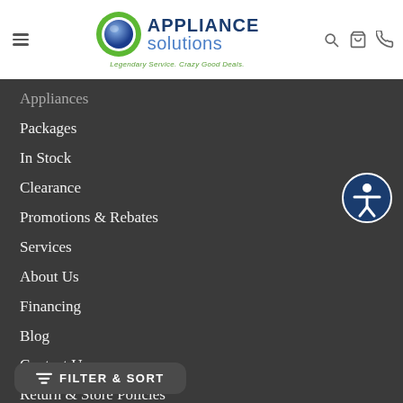[Figure (logo): Appliance Solutions logo with green circle, blue sphere icon, text 'APPLIANCE solutions', tagline 'Legendary Service. Crazy Good Deals.']
Appliances
Packages
In Stock
Clearance
Promotions & Rebates
Services
About Us
Financing
Blog
Contact Us
Return & Store Policies
Careers
FILTER & SORT